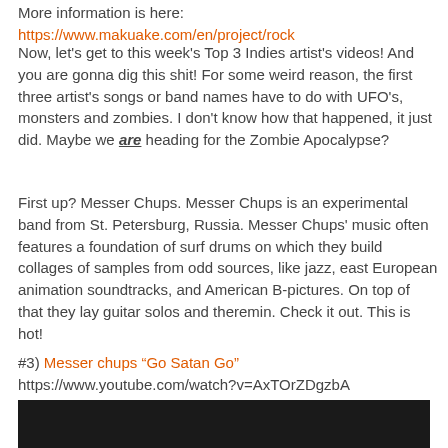More information is here: https://www.makuake.com/en/project/rock
Now, let's get to this week's Top 3 Indies artist's videos! And you are gonna dig this shit! For some weird reason, the first three artist's songs or band names have to do with UFO's, monsters and zombies. I don't know how that happened, it just did. Maybe we are heading for the Zombie Apocalypse?
First up? Messer Chups. Messer Chups is an experimental band from St. Petersburg, Russia. Messer Chups' music often features a foundation of surf drums on which they build collages of samples from odd sources, like jazz, east European animation soundtracks, and American B-pictures. On top of that they lay guitar solos and theremin. Check it out. This is hot!
#3) Messer chups "Go Satan Go" https://www.youtube.com/watch?v=AxTOrZDgzbA
[Figure (screenshot): Dark/black video thumbnail or embedded video player at the bottom of the page]